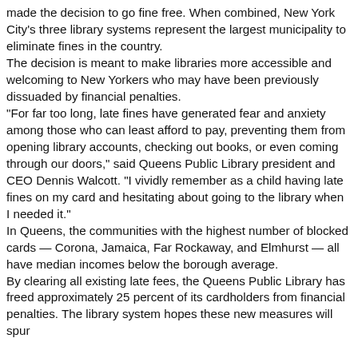made the decision to go fine free. When combined, New York City's three library systems represent the largest municipality to eliminate fines in the country. The decision is meant to make libraries more accessible and welcoming to New Yorkers who may have been previously dissuaded by financial penalties. "For far too long, late fines have generated fear and anxiety among those who can least afford to pay, preventing them from opening library accounts, checking out books, or even coming through our doors," said Queens Public Library president and CEO Dennis Walcott. "I vividly remember as a child having late fines on my card and hesitating about going to the library when I needed it." In Queens, the communities with the highest number of blocked cards — Corona, Jamaica, Far Rockaway, and Elmhurst — all have median incomes below the borough average. By clearing all existing late fees, the Queens Public Library has freed approximately 25 percent of its cardholders from financial penalties. The library system hopes these new measures will spur